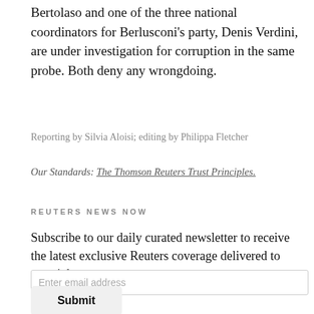Bertolaso and one of the three national coordinators for Berlusconi’s party, Denis Verdini, are under investigation for corruption in the same probe. Both deny any wrongdoing.
Reporting by Silvia Aloisi; editing by Philippa Fletcher
Our Standards: The Thomson Reuters Trust Principles.
REUTERS NEWS NOW
Subscribe to our daily curated newsletter to receive the latest exclusive Reuters coverage delivered to your inbox.
Enter email address
Submit